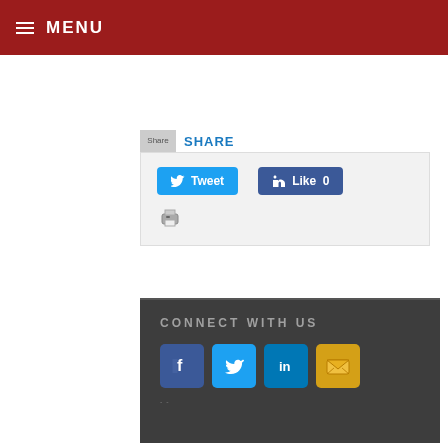MENU
[Figure (screenshot): Share icon placeholder image]
SHARE
[Figure (screenshot): Social share buttons area with Tweet button, Like 0 button, and print icon]
CONNECT WITH US
[Figure (infographic): Social media icons: Facebook, Twitter, LinkedIn, Email]